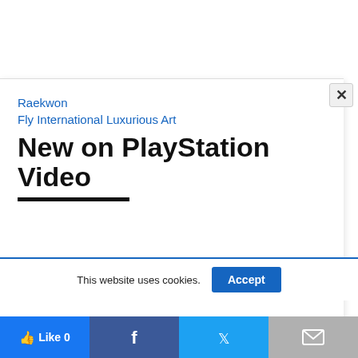Raekwon
Fly International Luxurious Art
New on PlayStation Video
[Figure (screenshot): Light gray image thumbnail placeholder]
This website uses cookies.
Accept
[Figure (other): Social sharing bar with Like, Facebook, Twitter, and Mail buttons]